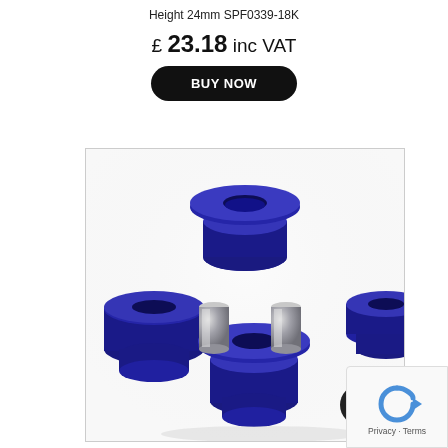Height 24mm SPF0339-18K
£ 23.18 inc VAT
BUY NOW
[Figure (photo): Four blue polyurethane suspension bushings with two silver metal sleeve inserts arranged on a white background]
Privacy · Terms